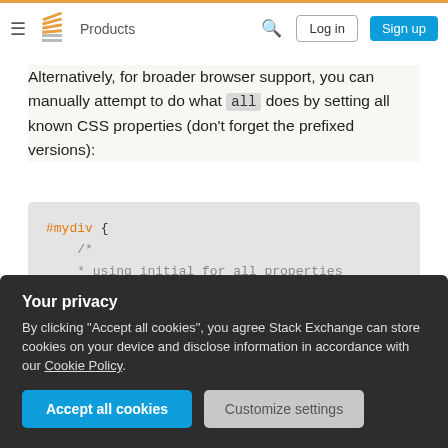Stack Overflow navigation bar with hamburger menu, logo, Products, search, Log in, Sign up
Alternatively, for broader browser support, you can manually attempt to do what all does by setting all known CSS properties (don't forget the prefixed versions):
[Figure (screenshot): Code block showing CSS: #mydiv { /* * using initial for all properties * to totally block inheritance */ align-content: initial;]
Your privacy
By clicking "Accept all cookies", you agree Stack Exchange can store cookies on your device and disclose information in accordance with our Cookie Policy.
Accept all cookies | Customize settings